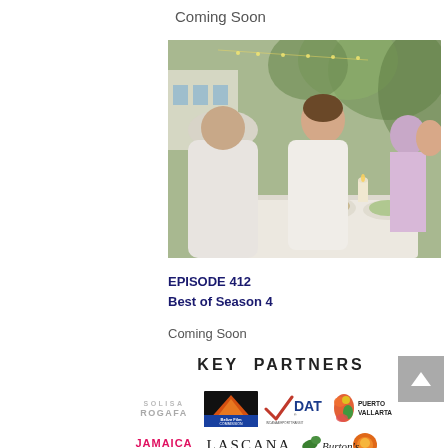Coming Soon
[Figure (photo): Two people dining outdoors at a table with white tablecloth, tropical setting with palm trees and string lights. Woman in white top laughing, man in white shirt facing away from camera.]
EPISODE 412
Best of Season 4
Coming Soon
KEY PARTNERS
[Figure (logo): SOLISA ROGAFA logo in gray/silver text]
[Figure (logo): Belize Film Commission logo with orange/red pyramid graphic and blue text]
[Figure (logo): DAT checkmark logo with blue text and INCANAAIRPORTTRANSIT subtitle]
[Figure (logo): Puerto Vallarta logo with colorful seahorse graphic]
[Figure (logo): Jamaica HEARTBEAT OF THE CARIBBEAN logo in pink/magenta]
[Figure (logo): LASCANA logo in black serif text]
[Figure (logo): Burton's logo with sun graphic]